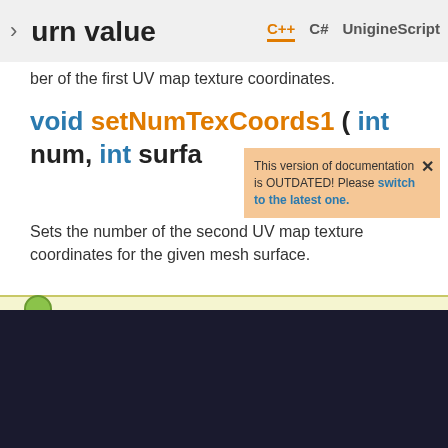urn value   C++  C#  UnigineScript
ber of the first UV map texture coordinates.
void setNumTexCoords1 ( int num, int surfa
This version of documentation is OUTDATED! Please switch to the latest one.
Sets the number of the second UV map texture coordinates for the given mesh surface.
We use cookies to ensure that we give you the best experience on our website. Click here for more information.
GOT IT